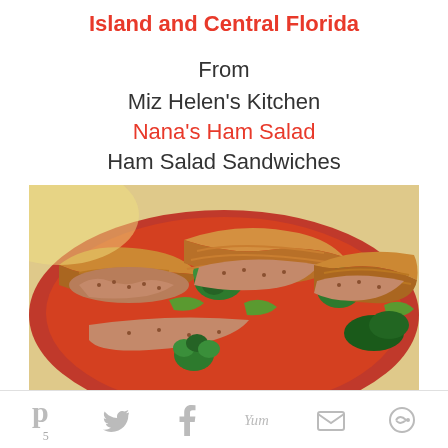Island and Central Florida
From
Miz Helen's Kitchen
Nana's Ham Salad
Ham Salad Sandwiches
[Figure (photo): Ham salad sandwiches on croissants served on a red plate with broccoli and greens garnish]
Pinterest share button with count 5, Twitter, Facebook, Yum, Email, and another share button